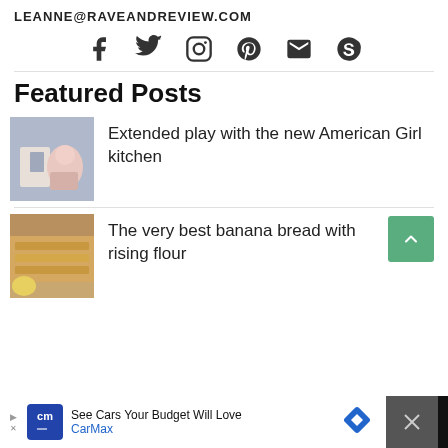LEANNE@RAVEANDREVIEW.COM
[Figure (infographic): Social media icons row: Facebook, Twitter, Instagram, Pinterest, Email, Skype]
Featured Posts
[Figure (photo): Girl playing with American Girl kitchen doll set]
Extended play with the new American Girl kitchen
[Figure (photo): Sliced banana bread on a cutting board with bananas]
The very best banana bread with rising flour
[Figure (infographic): Advertisement bar: See Cars Your Budget Will Love - CarMax]